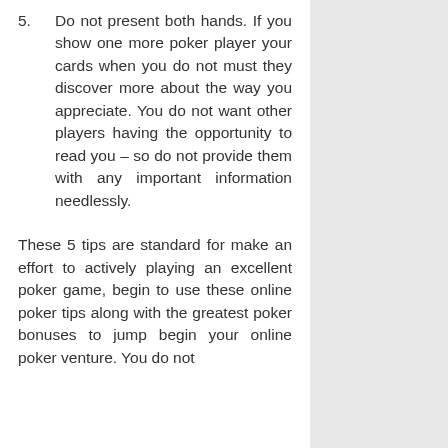5. Do not present both hands. If you show one more poker player your cards when you do not must they discover more about the way you appreciate. You do not want other players having the opportunity to read you – so do not provide them with any important information needlessly.
These 5 tips are standard for make an effort to actively playing an excellent poker game, begin to use these online poker tips along with the greatest poker bonuses to jump begin your online poker venture. You do not